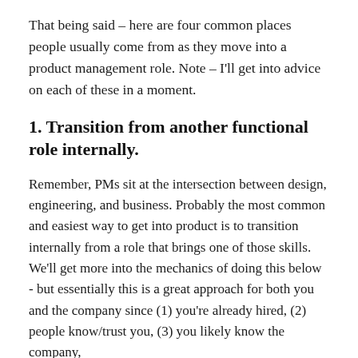That being said – here are four common places people usually come from as they move into a product management role. Note – I'll get into advice on each of these in a moment.
1. Transition from another functional role internally.
Remember, PMs sit at the intersection between design, engineering, and business. Probably the most common and easiest way to get into product is to transition internally from a role that brings one of those skills. We'll get more into the mechanics of doing this below - but essentially this is a great approach for both you and the company since (1) you're already hired, (2) people know/trust you, (3) you likely know the company,